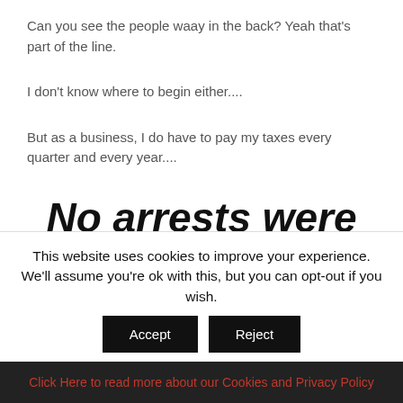Can you see the people waay in the back? Yeah that's part of the line.
I don't know where to begin either....
But as a business, I do have to pay my taxes every quarter and every year....
No arrests were made.
This website uses cookies to improve your experience. We'll assume you're ok with this, but you can opt-out if you wish.
Accept | Reject
Click Here to read more about our Cookies and Privacy Policy